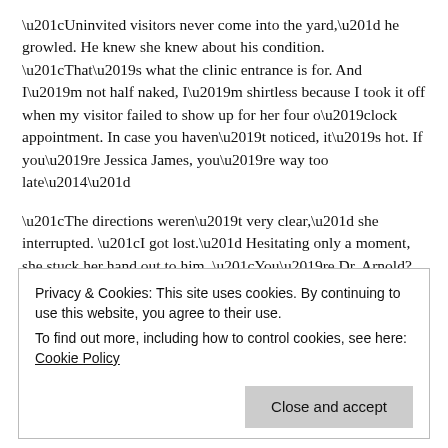“Uninvited visitors never come into the yard,” he growled. He knew she knew about his condition. “That’s what the clinic entrance is for. And I’m not half naked, I’m shirtless because I took it off when my visitor failed to show up for her four o’clock appointment. In case you haven’t noticed, it’s hot. If you’re Jessica James, you’re way too late—”
“The directions weren’t very clear,” she interrupted. “I got lost.” Hesitating only a moment, she stuck her hand out to him. “You’re Dr. Arnold?”
He ignored her hand and question, reaching instead for the shirt draped over the railing behind him and shrugged it on. Doctor or not, the man has no manners.
Buttoning the shirt, he leaned in closer. “So, it’s my fault you can’t
Privacy & Cookies: This site uses cookies. By continuing to use this website, you agree to their use.
To find out more, including how to control cookies, see here: Cookie Policy
wouldn’t have gotten the job anyway. Sorry for the inconvenience.